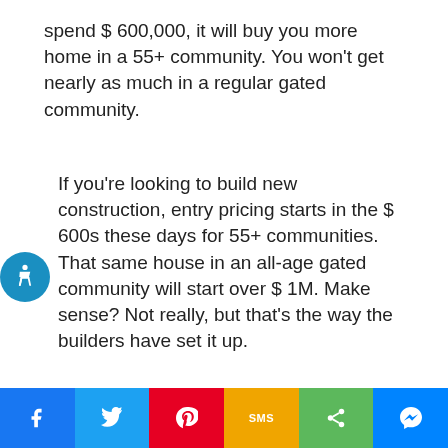spend $ 600,000, it will buy you more home in a 55+ community.  You won't get nearly as much in a regular gated community.
If you're looking to build new construction, entry pricing starts in the $ 600s these days for 55+ communities.  That same house in an all-age gated community will start over $ 1M.  Make sense?  Not really, but that's the way the builders have set it up.
[Figure (infographic): Social sharing bar with six buttons: Facebook (blue), Twitter (light blue), Pinterest (red), SMS (yellow/orange), Share (green), Messenger (blue)]